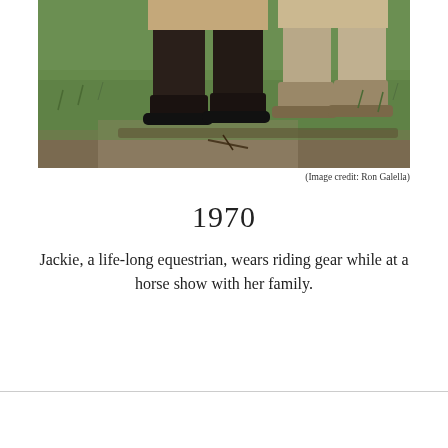[Figure (photo): Close-up photo of two people wearing equestrian riding boots and breeches standing on grass at a horse show]
(Image credit: Ron Galella)
1970
Jackie, a life-long equestrian, wears riding gear while at a horse show with her family.